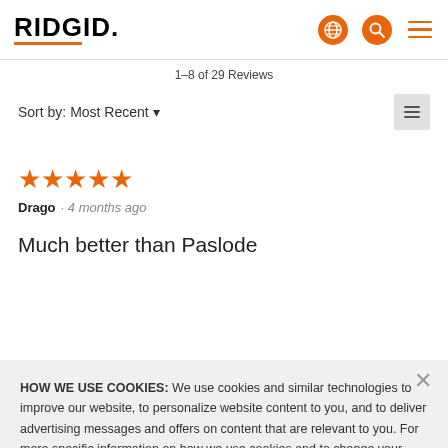RIDGID
1–8 of 29 Reviews
Sort by: Most Recent
[Figure (other): 5 orange star rating icons]
Drago · 4 months ago
Much better than Paslode
HOW WE USE COOKIES:  We use cookies and similar technologies to improve our website, to personalize website content to you, and to deliver advertising messages and offers on content that are relevant to you. For more specific information on how we use cookies and to change your cookie preferences, see our Cookie Notice. Understand and don't want to see this message again? Click the X to close this notice.